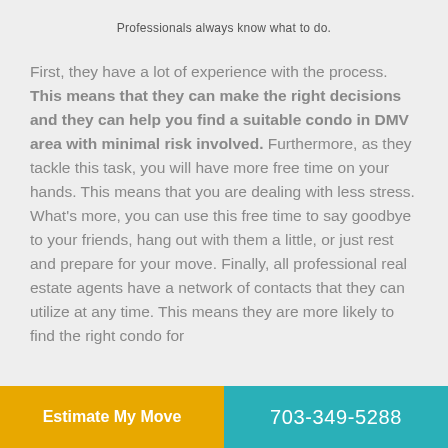Professionals always know what to do.
First, they have a lot of experience with the process. This means that they can make the right decisions and they can help you find a suitable condo in DMV area with minimal risk involved. Furthermore, as they tackle this task, you will have more free time on your hands. This means that you are dealing with less stress. What’s more, you can use this free time to say goodbye to your friends, hang out with them a little, or just rest and prepare for your move. Finally, all professional real estate agents have a network of contacts that they can utilize at any time. This means they are more likely to find the right condo for
Estimate My Move   703-349-5288